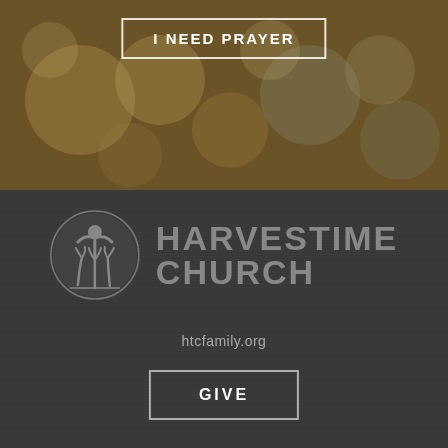[Figure (photo): Bokeh background photo with warm golden/amber tones and blurred light circles]
I NEED PRAYER
[Figure (logo): Harvestime Church logo with circular emblem showing a stylized person with raised arms above wheat/grass stalks]
HARVESTIME CHURCH
htcfamily.org
GIVE